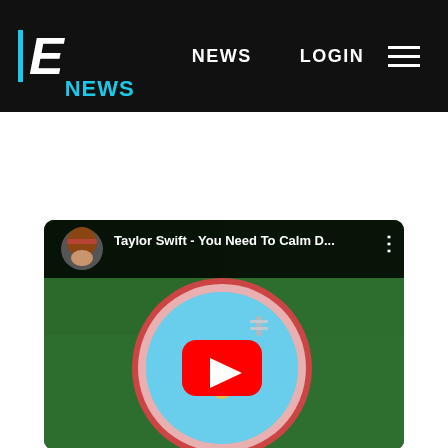E! NEWS   NEWS   LOGIN
[Figure (screenshot): YouTube video embed thumbnail for 'Taylor Swift - You Need To Calm D...' showing aerial view of a round swimming pool on green grass with a red play button overlay]